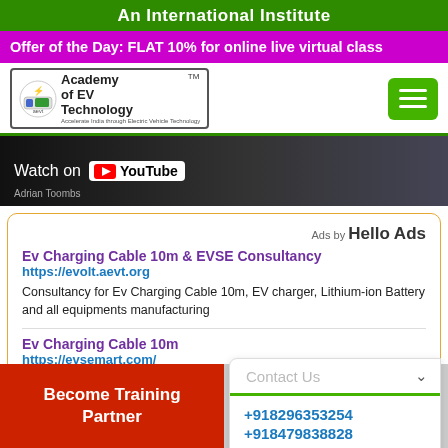An International Institute
Offer of the Day: FLAT 10% for online live virtual class
[Figure (logo): Academy of EV Technology logo with hamburger menu button]
[Figure (screenshot): YouTube Watch On banner with Adrian Toombs text]
Ads by Hello Ads
Ev Charging Cable 10m & EVSE Consultancy
https://evolt.aevt.org
Consultancy for Ev Charging Cable 10m, EV charger, Lithium-ion Battery and all equipments manufacturing
Ev Charging Cable 10m
https://evsemart.com/
Buy Ev Charging Cable 10m - Buy EV charger, L... and all equipments from EVSEMart
Contact Us
+918296353254
+918479838828
11 AM to 6 PM
Become Training Partner